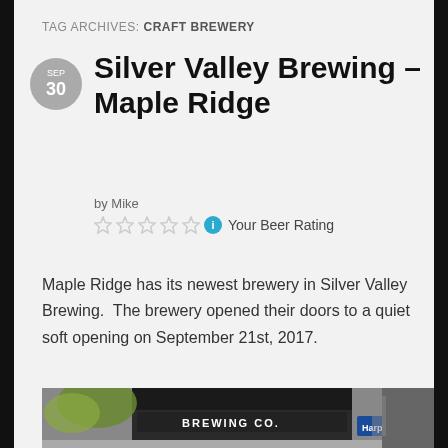TAG ARCHIVES: CRAFT BREWERY
Silver Valley Brewing – Maple Ridge
by Mike
Your Beer Rating
Maple Ridge has its newest brewery in Silver Valley Brewing.  The brewery opened their doors to a quiet soft opening on September 21st, 2017.
[Figure (photo): Exterior storefront photo of Silver Valley Brewing Co. showing a dark building facade with 'BREWING CO.' signage, trees with autumn foliage, and a Harpo's sign visible to the right.]